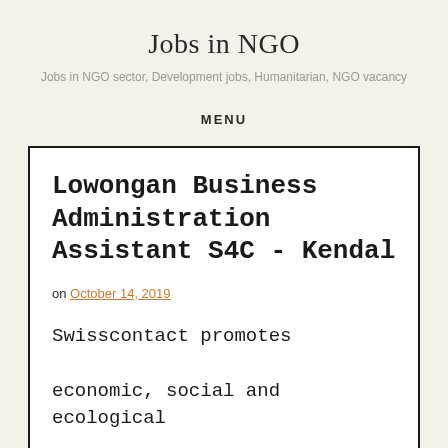Jobs in NGO
Jobs in NGO sector, Development jobs, Humanitarian, NGO vacancy
MENU
Lowongan Business Administration Assistant S4C - Kendal
on October 14, 2019
Swisscontact promotes economic, social and ecological